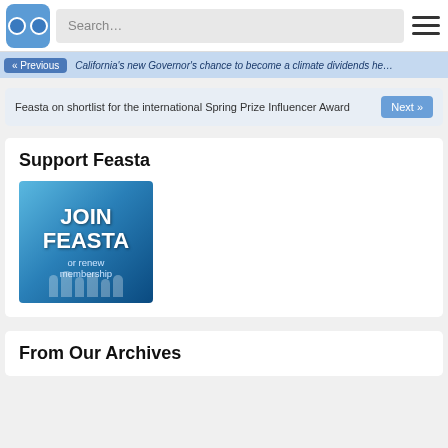Search…
« Previous   California's new Governor's chance to become a climate dividends he…
Feasta on shortlist for the international Spring Prize Influencer Award   Next »
Support Feasta
[Figure (illustration): Blue banner image showing JOIN FEASTA or renew membership text with silhouette figures of people at the bottom]
From Our Archives